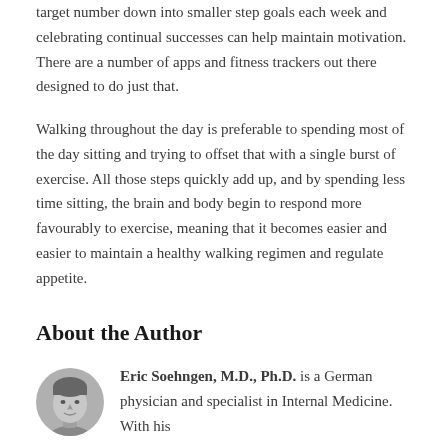target number down into smaller step goals each week and celebrating continual successes can help maintain motivation. There are a number of apps and fitness trackers out there designed to do just that.
Walking throughout the day is preferable to spending most of the day sitting and trying to offset that with a single burst of exercise. All those steps quickly add up, and by spending less time sitting, the brain and body begin to respond more favourably to exercise, meaning that it becomes easier and easier to maintain a healthy walking regimen and regulate appetite.
About the Author
[Figure (photo): Headshot photo of Eric Soehngen, a man with short hair, in grayscale, circular crop]
Eric Soehngen, M.D., Ph.D. is a German physician and specialist in Internal Medicine. With his...